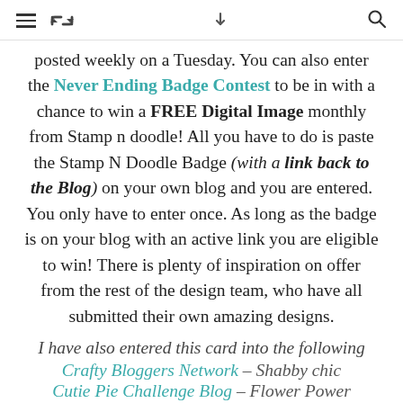≡ ↺ ∨ Q
posted weekly on a Tuesday. You can also enter the Never Ending Badge Contest to be in with a chance to win a FREE Digital Image monthly from Stamp n doodle! All you have to do is paste the Stamp N Doodle Badge (with a link back to the Blog) on your own blog and you are entered. You only have to enter once. As long as the badge is on your blog with an active link you are eligible to win! There is plenty of inspiration on offer from the rest of the design team, who have all submitted their own amazing designs.
I have also entered this card into the following
Crafty Bloggers Network – Shabby chic
Cutie Pie Challenge Blog – Flower Power
Creatalicious challenges – All about Lace
Crafts and Me – Distressed